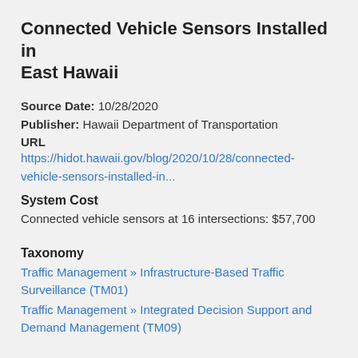Connected Vehicle Sensors Installed in East Hawaii
Source Date:  10/28/2020
Publisher:  Hawaii Department of Transportation
URL
https://hidot.hawaii.gov/blog/2020/10/28/connected-vehicle-sensors-installed-in...
System Cost
Connected vehicle sensors at 16 intersections: $57,700
Taxonomy
Traffic Management » Infrastructure-Based Traffic Surveillance (TM01)
Traffic Management » Integrated Decision Support and Demand Management (TM09)